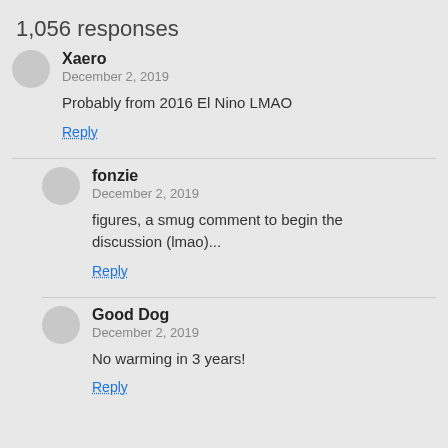1,056 responses
Xaero
December 2, 2019
Probably from 2016 El Nino LMAO
Reply
fonzie
December 2, 2019
figures, a smug comment to begin the discussion (lmao)...
Reply
Good Dog
December 2, 2019
No warming in 3 years!
Reply